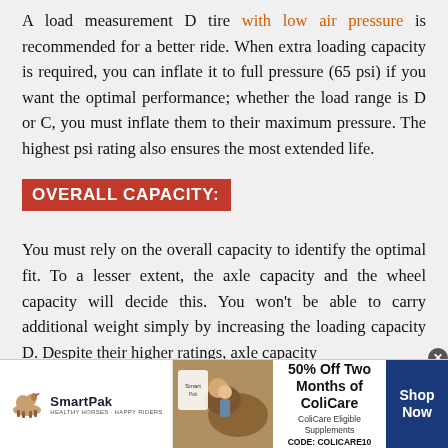A load measurement D tire with low air pressure is recommended for a better ride. When extra loading capacity is required, you can inflate it to full pressure (65 psi) if you want the optimal performance; whether the load range is D or C, you must inflate them to their maximum pressure. The highest psi rating also ensures the most extended life.
OVERALL CAPACITY:
You must rely on the overall capacity to identify the optimal fit. To a lesser extent, the axle capacity and the wheel capacity will decide this. You won't be able to carry additional weight simply by increasing the loading capacity D. Despite their higher ratings, axle capacity...
[Figure (infographic): SmartPak advertisement banner showing logo with horse icon, product image of a horse with a woman, and '50% Off Two Months of ColiCare' offer with CODE: COLICARE10 and Shop Now button]